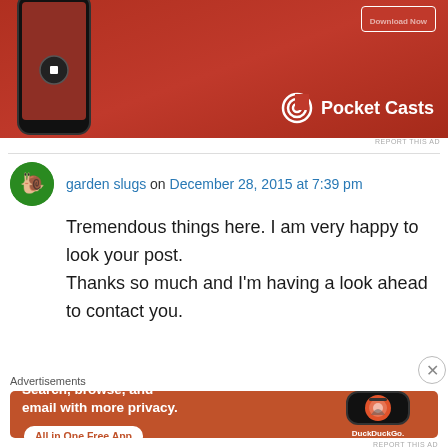[Figure (photo): Pocket Casts app advertisement showing a smartphone on a red background with the Pocket Casts logo and text 'Download Now']
REPORT THIS AD
garden slugs on December 28, 2015 at 7:39 pm
Tremendous things here. I am very happy to look your post.
Thanks so much and I'm having a look ahead to contact you.
Advertisements
[Figure (photo): DuckDuckGo advertisement on orange background: 'Search, browse, and email with more privacy. All in One Free App' with a smartphone showing the DuckDuckGo app]
REPORT THIS AD